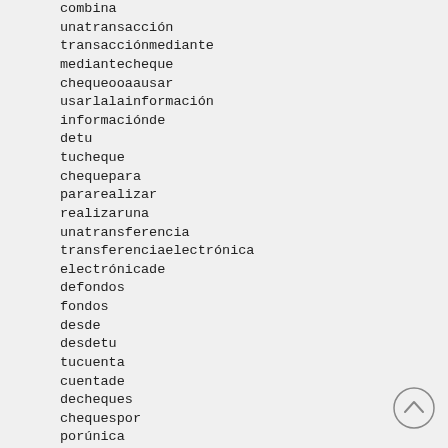combina
unatransacción
transacciónmediante
mediantecheque
chequeooaausar
usarlalainformación
informaciónde
detu
tucheque
chequepara
pararealizar
realizaruna
unatransferencia
transferenciaelectrónica
electrónicade
defondos
fondos
desde
desdetu
tucuenta
cuentade
decheques
chequespor
porúnica
únicavoz